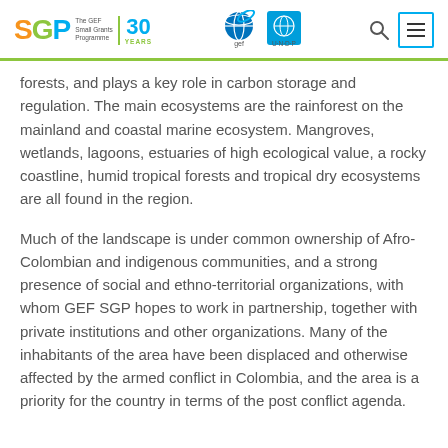SGP The GEF Small Grants Programme | 30 YEARS | gef | UNDP
forests, and plays a key role in carbon storage and regulation. The main ecosystems are the rainforest on the mainland and coastal marine ecosystem. Mangroves, wetlands, lagoons, estuaries of high ecological value, a rocky coastline, humid tropical forests and tropical dry ecosystems are all found in the region.
Much of the landscape is under common ownership of Afro-Colombian and indigenous communities, and a strong presence of social and ethno-territorial organizations, with whom GEF SGP hopes to work in partnership, together with private institutions and other organizations. Many of the inhabitants of the area have been displaced and otherwise affected by the armed conflict in Colombia, and the area is a priority for the country in terms of the post conflict agenda.